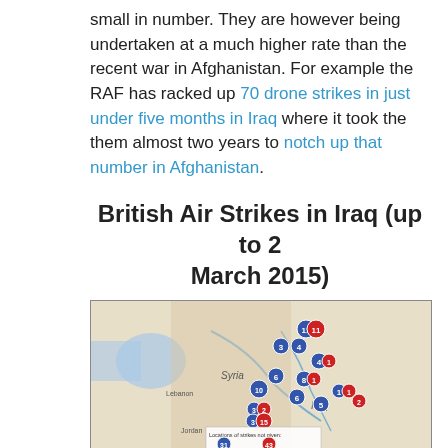small in number. They are however being undertaken at a much higher rate than the recent war in Afghanistan. For example the RAF has racked up 70 drone strikes in just under five months in Iraq where it took the them almost two years to notch up that number in Afghanistan.
British Air Strikes in Iraq (up to 2 March 2015)
[Figure (map): Map showing British air strike locations in Iraq up to 2 March 2015. Blue and red numbered circle markers indicate strike locations across Iraq and border regions. Legend shows 31 blue (locations not given) and 43 red markers.]